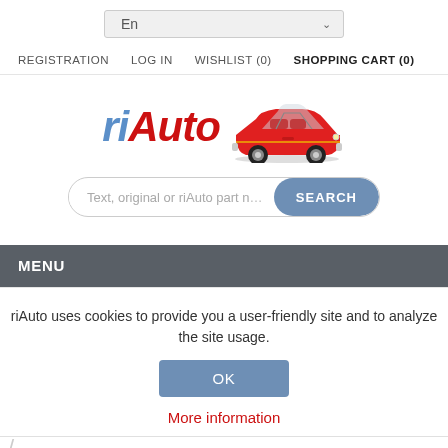[Figure (screenshot): Language selector dropdown showing 'En' with chevron arrow, styled as a light gray input field]
REGISTRATION   LOG IN   WISHLIST (0)   SHOPPING CART (0)
[Figure (logo): riAuto logo with stylized italic text: 'ri' in blue and 'Auto' in red, accompanied by an image of a classic red convertible sports car]
[Figure (screenshot): Search bar with placeholder text 'Text, original or riAuto part n' and a blue-gray SEARCH button]
MENU
riAuto uses cookies to provide you a user-friendly site and to analyze the site usage.
OK
More information
21158